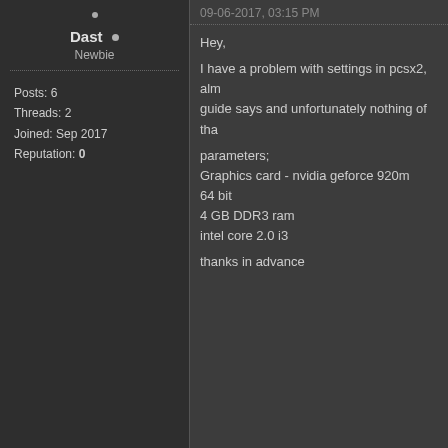Dast
Newbie
Posts: 6
Threads: 2
Joined: Sep 2017
Reputation: 0
09-06-2017, 03:15 PM
Hey,
I have a problem with settings in pcsx2, alm
guide says and unfortunately nothing of tha

parameters;
Graphics card - nvidia geforce 920m
64 bit
4 GB DDR3 ram
intel core 2.0 i3

thanks in advance
Find